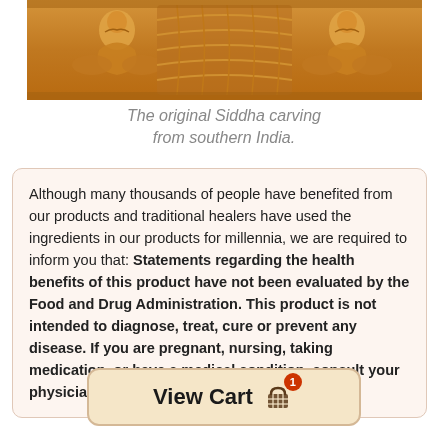[Figure (photo): Carved wooden relief depicting Siddha figures from southern India, showing intricate traditional carving in warm brown tones.]
The original Siddha carving from southern India.
Although many thousands of people have benefited from our products and traditional healers have used the ingredients in our products for millennia, we are required to inform you that: Statements regarding the health benefits of this product have not been evaluated by the Food and Drug Administration. This product is not intended to diagnose, treat, cure or prevent any disease. If you are pregnant, nursing, taking medication, or have a medical condition, consult your physician before using this product.
View Cart